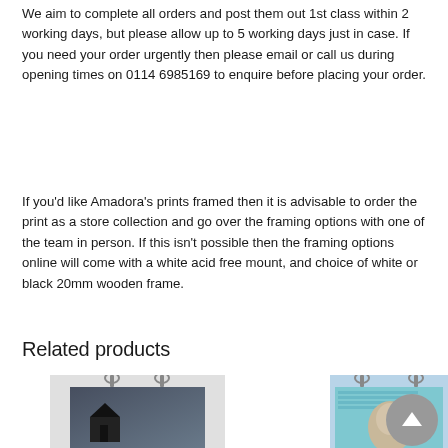We aim to complete all orders and post them out 1st class within 2 working days, but please allow up to 5 working days just in case. If you need your order urgently then please email or call us during opening times on 0114 6985169 to enquire before placing your order.
If you'd like Amadora's prints framed then it is advisable to order the print as a store collection and go over the framing options with one of the team in person. If this isn't possible then the framing options online will come with a white acid free mount, and choice of white or black 20mm wooden frame.
Related products
[Figure (photo): Product image on left - a print mounted with clips showing a dark landscape scene]
[Figure (photo): Product image on right - a print mounted with clips showing a portrait/face illustration with text]